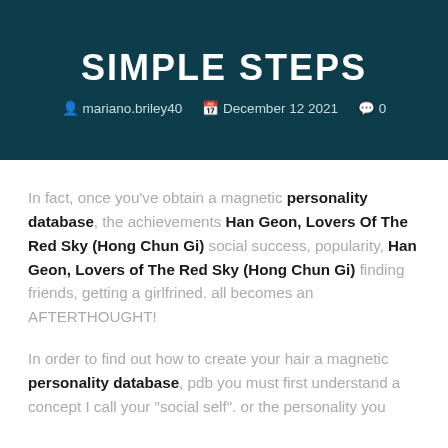SIMPLE STEPS
mariano.briley40   December 12 2021   0
In fact, once you've obtain a magnetic personality database, the achievements Han Geon, Lovers Of The Red Sky (Hong Chun Gi) social success, popularity, Han Geon, Lovers of The Red Sky (Hong Chun Gi) finding friends, getting a girlfrined. all becomes an AFTERTHOUGHT!
In order to find out how to create your hair a magnetic personality database, pdb you must first understand a concept I call your "social self". or the personality you